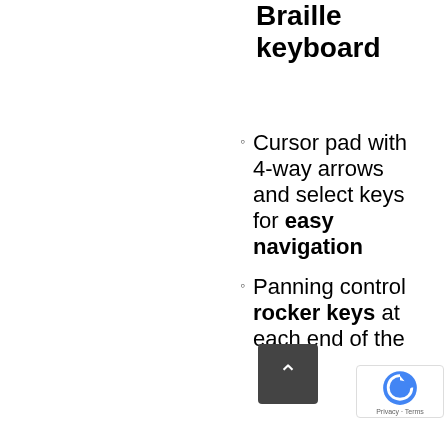Braille keyboard
Cursor pad with 4-way arrows and select keys for easy navigation
Panning control rocker keys at each end of the